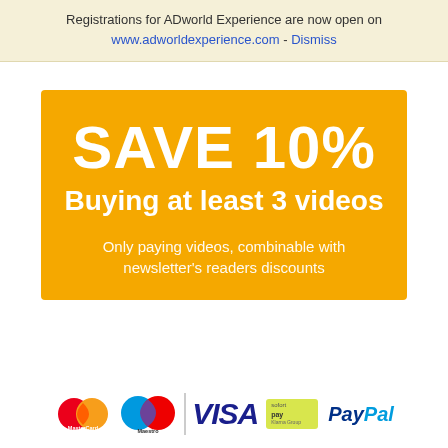Registrations for ADworld Experience are now open on www.adworldexperience.com - Dismiss
[Figure (infographic): Orange promotional banner reading 'SAVE 10% Buying at least 3 videos' with subtitle 'Only paying videos, combinable with newsletter's readers discounts']
[Figure (infographic): Payment method logos: MasterCard, Maestro, VISA, Sofort, PayPal]